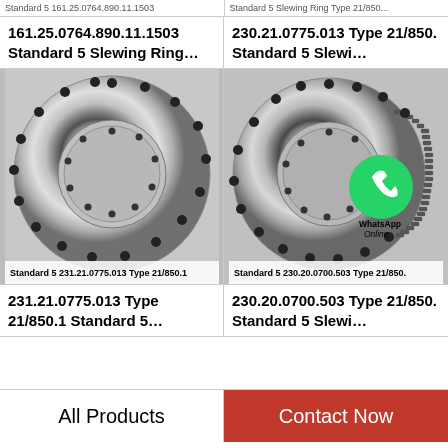Standard 5 161.25.0764.890.11.1503 / Standard 5 Slewing Ring Type 21/850.
161.25.0764.890.11.1503 Standard 5 Slewing Ring…
230.21.0775.013 Type 21/850. Standard 5 Slewing Ring…
[Figure (photo): Slewing ring bearing, circular, no gear teeth, silver metallic finish, with bolt holes around the ring. Caption: Standard 5 231.21.0775.013 Type 21/850.1]
[Figure (photo): Slewing ring bearing with external gear teeth on right side, silver metallic finish, with bolt holes, WhatsApp Online badge overlay. Caption: Standard 5 230.20.0700.503 Type 21/850.]
231.21.0775.013 Type 21/850.1 Standard 5…
230.20.0700.503 Type 21/850. Standard 5 Slewi…
All Products
Contact Now